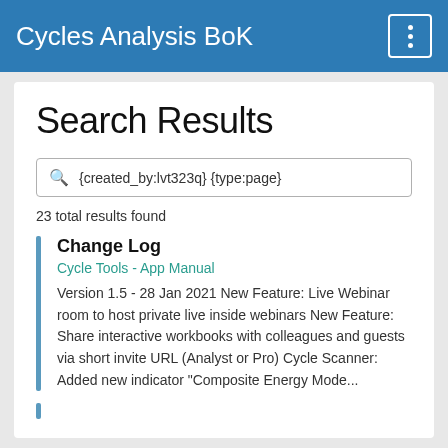Cycles Analysis BoK
Search Results
{created_by:lvt323q} {type:page}
23 total results found
Change Log
Cycle Tools - App Manual
Version 1.5 - 28 Jan 2021 New Feature: Live Webinar room to host private live inside webinars New Feature: Share interactive workbooks with colleagues and guests via short invite URL (Analyst or Pro) Cycle Scanner: Added new indicator "Composite Energy Mode...